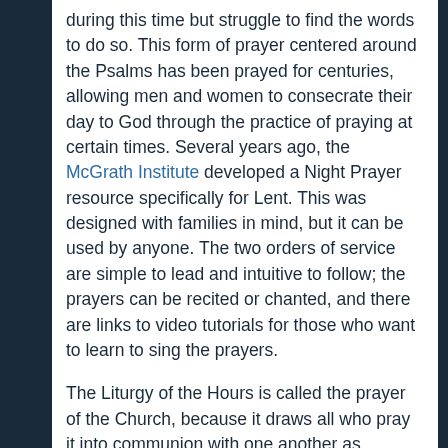during this time but struggle to find the words to do so. This form of prayer centered around the Psalms has been prayed for centuries, allowing men and women to consecrate their day to God through the practice of praying at certain times. Several years ago, the McGrath Institute developed a Night Prayer resource specifically for Lent. This was designed with families in mind, but it can be used by anyone. The two orders of service are simple to lead and intuitive to follow; the prayers can be recited or chanted, and there are links to video tutorials for those who want to learn to sing the prayers.
The Liturgy of the Hours is called the prayer of the Church, because it draws all who pray it into communion with one another as members of the Body of Christ. In this time of social isolation, this form of prayer can be a source of great solace, helping us to remember that, in Christ, we are never alone. It